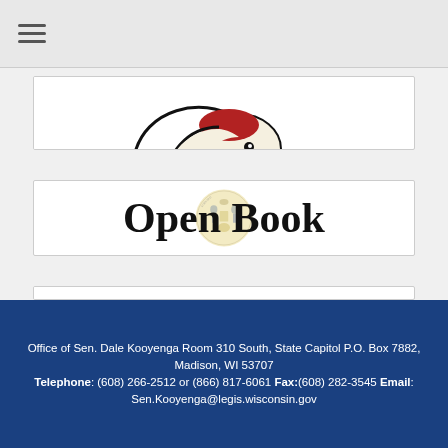[Figure (logo): MyWisconsinEye logo with a sandhill crane bird head and stylized text]
[Figure (logo): Open Book Wisconsin logo with Wisconsin state seal and 'Open Book' text]
[Figure (other): Partially visible third banner at bottom]
Office of Sen. Dale Kooyenga Room 310 South, State Capitol P.O. Box 7882, Madison, WI 53707 Telephone: (608) 266-2512 or (866) 817-6061 Fax:(608) 282-3545 Email: Sen.Kooyenga@legis.wisconsin.gov